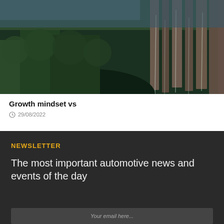[Figure (photo): Landscape photo of a rocky cliff face with tall stone columns and lush green forest/trees visible in a canyon or gorge setting]
Growth mindset vs
29/08/2022
NEWSLETTER
The most important automotive news and events of the day
Your email here...